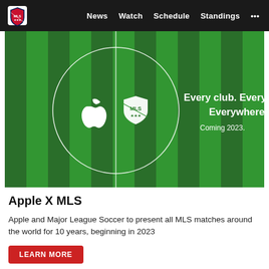MLS — News  Watch  Schedule  Standings  •••
[Figure (photo): Green soccer field with alternating dark/light stripes viewed from above. Centered circle on field contains white Apple logo on left and white MLS shield logo on right, separated by a vertical center line. To the right of the logos, white text reads 'Every club. Every match. Everywhere. Coming 2023.']
Apple X MLS
Apple and Major League Soccer to present all MLS matches around the world for 10 years, beginning in 2023
LEARN MORE